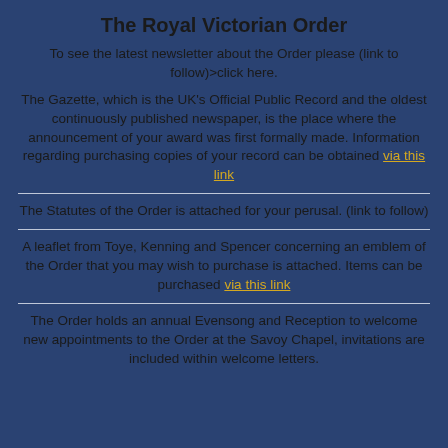The Royal Victorian Order
To see the latest newsletter about the Order please (link to follow)>click here.
The Gazette, which is the UK's Official Public Record and the oldest continuously published newspaper, is the place where the announcement of your award was first formally made. Information regarding purchasing copies of your record can be obtained via this link
The Statutes of the Order is attached for your perusal. (link to follow)
A leaflet from Toye, Kenning and Spencer concerning an emblem of the Order that you may wish to purchase is attached. Items can be purchased via this link
The Order holds an annual Evensong and Reception to welcome new appointments to the Order at the Savoy Chapel, invitations are included within welcome letters.